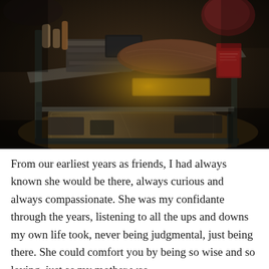[Figure (photo): Indoor photo of a cluttered glass coffee table with books, papers, bottles and items on top, a folded brown fabric, and a book on the right. A patterned rug is visible on the floor below. Warm, dim ambient lighting with dark background.]
From our earliest years as friends, I had always known she would be there, always curious and always compassionate. She was my confidante through the years, listening to all the ups and downs my own life took, never being judgmental, just being there. She could comfort you by being so wise and so loving, just as my mother was. The study resembled her desk. When I last saw her desk...